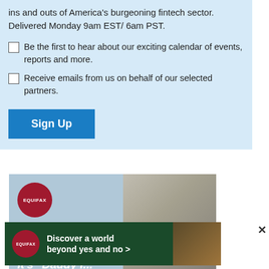ins and outs of America's burgeoning fintech sector. Delivered Monday 9am EST/ 6am PST.
Be the first to hear about our exciting calendar of events, reports and more.
Receive emails from us on behalf of our selected partners.
Sign Up
[Figure (photo): Equifax advertisement banner: 'It's not just a holiday It's "Daddy I...' with blurred background photo of person. Red Equifax circle logo top left.]
[Figure (photo): Equifax bottom banner ad: 'Discover a world beyond yes and no >' dark green background with red Equifax circle logo and hands photo on right.]